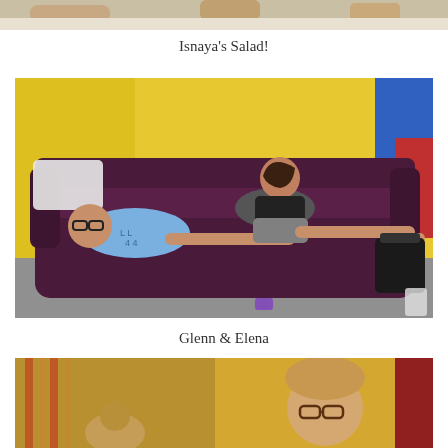[Figure (photo): Top portion of a photo showing people at a table with food, cropped]
Isnaya’s Salad!
[Figure (photo): Two people, a man wearing glasses and a blue t-shirt lying on a dark purple leather couch, and a woman in a dark tank top and shorts sitting on the couch laughing and posing. Yellow and blue walls in background.]
Glenn & Elena
[Figure (photo): Bottom portion of another photo, showing parts of people in a room with colorful walls, cropped at bottom of page]